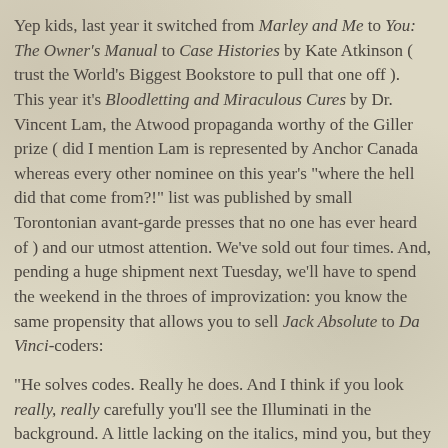Yep kids, last year it switched from Marley and Me to You: The Owner's Manual to Case Histories by Kate Atkinson ( trust the World's Biggest Bookstore to pull that one off ). This year it's Bloodletting and Miraculous Cures by Dr. Vincent Lam, the Atwood propaganda worthy of the Giller prize ( did I mention Lam is represented by Anchor Canada whereas every other nominee on this year's "where the hell did that come from?!" list was published by small Torontonian avant-garde presses that no one has ever heard of ) and our utmost attention. We've sold out four times. And, pending a huge shipment next Tuesday, we'll have to spend the weekend in the throes of improvization: you know the same propensity that allows you to sell Jack Absolute to Da Vinci-coders:
"He solves codes. Really he does. And I think if you look really, really carefully you'll see the Illuminati in the background. A little lacking on the italics, mind you, but they are indeed, the darkest con of man!"